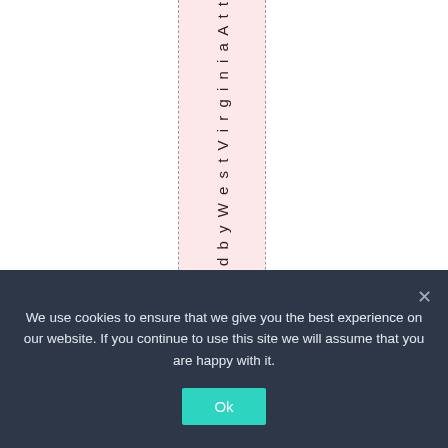[Figure (other): A webpage fragment showing a pink-highlighted column with vertical text reading 'd b y W e s t V i r g i n i a A t t' between two dashed vertical lines on a white background.]
We use cookies to ensure that we give you the best experience on our website. If you continue to use this site we will assume that you are happy with it. Ok